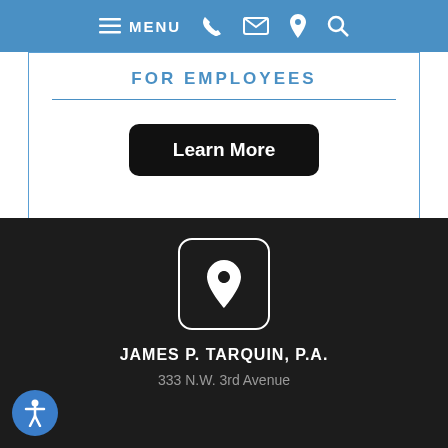MENU
FOR EMPLOYEES
Learn More
[Figure (illustration): Location pin icon inside a rounded square outline, white on dark background]
JAMES P. TARQUIN, P.A.
333 N.W. 3rd Avenue